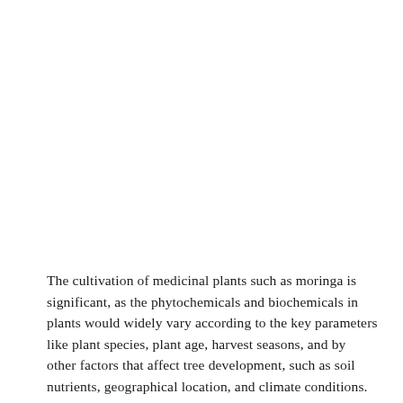The cultivation of medicinal plants such as moringa is significant, as the phytochemicals and biochemicals in plants would widely vary according to the key parameters like plant species, plant age, harvest seasons, and by other factors that affect tree development, such as soil nutrients, geographical location, and climate conditions. Moringa tree best